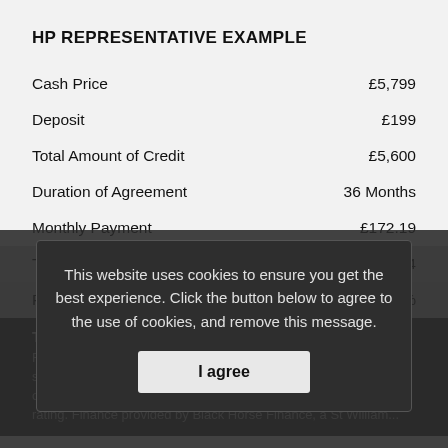HP REPRESENTATIVE EXAMPLE
|  |  |
| --- | --- |
| Cash Price | £5,799 |
| Deposit | £199 |
| Total Amount of Credit | £5,600 |
| Duration of Agreement | 36 Months |
| Monthly Payment | £172.19 |
| Total Amount Payable | £6,398.84 |
| Representative APR | 6.9% |
TERMS & CONDITIONS
Figures correct at time of print but subject to change. All finance is subject to status and is only available to applicants aged 18 and over. The interest rate you will get is based on your own credit rating. Finance provided by Black Horse Finance, a St William...
This website uses cookies to ensure you get the best experience. Click the button below to agree to the use of cookies, and remove this message.